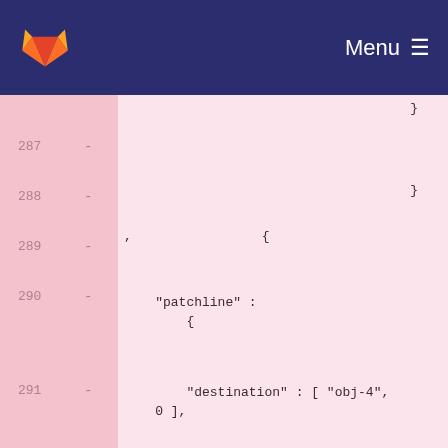GitLab — Menu
287  -
288  -   }
289  - ,   {
290  -   "patchline" :   {
291  -   "destination" : [ "obj-4", 0 ],
292  -   "source" : [ "obj-19", 0 ]
293  -   }